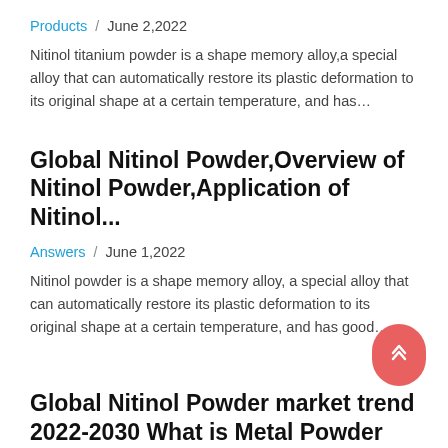Products  /  June 2,2022
Nitinol titanium powder is a shape memory alloy,a special alloy that can automatically restore its plastic deformation to its original shape at a certain temperature, and has…
Global Nitinol Powder,Overview of Nitinol Powder,Application of Nitinol...
Answers  /  June 1,2022
Nitinol powder is a shape memory alloy, a special alloy that can automatically restore its plastic deformation to its original shape at a certain temperature, and has good…
Global Nitinol Powder market trend 2022-2030 What is Metal Powder Material for...